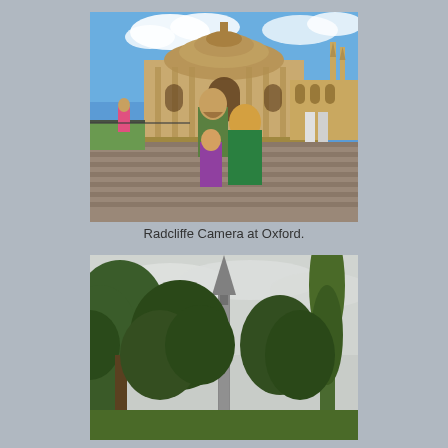[Figure (photo): A man and two children posing in front of the Radcliffe Camera, a large circular stone building at Oxford University. The man has a beard and wears a green t-shirt. The older child has curly reddish hair and wears a green t-shirt. The younger child wears a purple top. The foreground shows cobblestones and the background shows blue sky.]
Radcliffe Camera at Oxford.
[Figure (photo): A tall church or cathedral spire rising between large green trees against an overcast sky.]